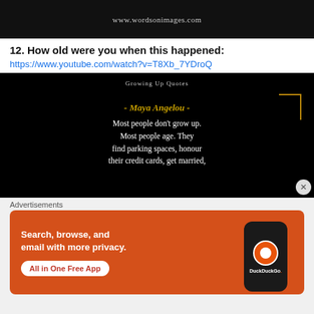[Figure (screenshot): Dark image with website URL www.wordsonimages.com at bottom]
12. How old were you when this happened:
https://www.youtube.com/watch?v=T8Xb_7YDroQ
[Figure (screenshot): Black background quote image with Growing Up Quotes header, Maya Angelou attribution in gold, and quote text: Most people don't grow up. Most people age. They find parking spaces, honour their credit cards, get married,]
Advertisements
[Figure (screenshot): DuckDuckGo advertisement banner with orange background. Text: Search, browse, and email with more privacy. All in One Free App. Shows DuckDuckGo phone mockup.]